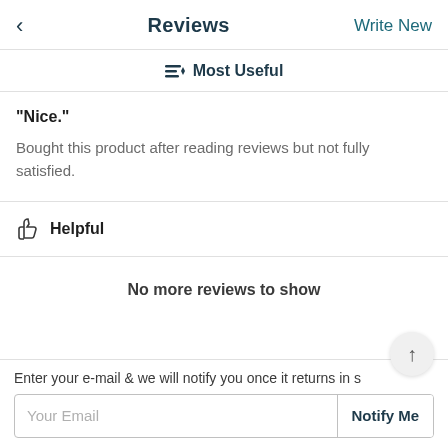< Reviews  Write New
≡ Most Useful
"Nice."
Bought this product after reading reviews but not fully satisfied.
👍 Helpful
No more reviews to show
Enter your e-mail & we will notify you once it returns in s
Your Email   Notify Me